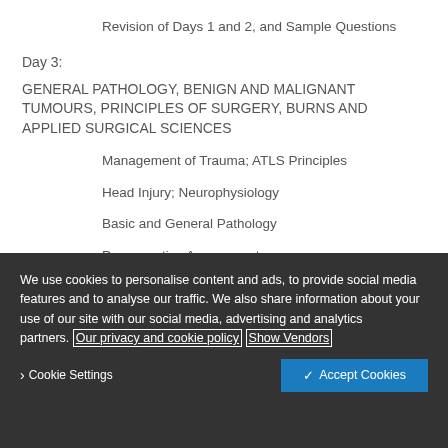Revision of Days 1 and 2, and Sample Questions
Day 3:
GENERAL PATHOLOGY, BENIGN AND MALIGNANT TUMOURS, PRINCIPLES OF SURGERY, BURNS AND APPLIED SURGICAL SCIENCES
Management of Trauma; ATLS Principles
Head Injury; Neurophysiology
Basic and General Pathology
Pre-operative Assessment
We use cookies to personalise content and ads, to provide social media features and to analyse our traffic. We also share information about your use of our site with our social media, advertising and analytics partners. Our privacy and cookie policy Show Vendors
Cookie Settings   Accept Cookies